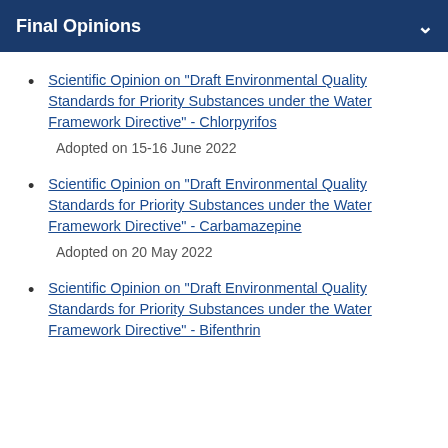Final Opinions
Scientific Opinion on "Draft Environmental Quality Standards for Priority Substances under the Water Framework Directive" - Chlorpyrifos
Adopted on 15-16 June 2022
Scientific Opinion on "Draft Environmental Quality Standards for Priority Substances under the Water Framework Directive" - Carbamazepine
Adopted on 20 May 2022
Scientific Opinion on "Draft Environmental Quality Standards for Priority Substances under the Water Framework Directive" - Bifenthrin